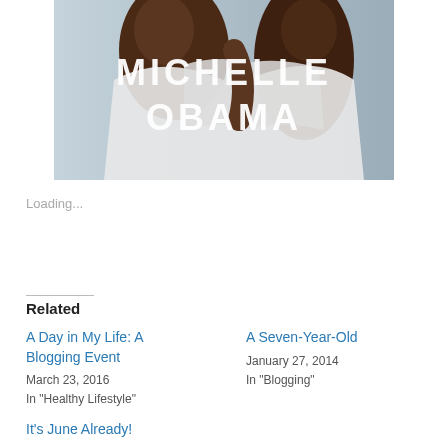[Figure (photo): Photo of a woman in a white draped outfit with text overlay reading 'MICHELLE OBAMA' in large white bold letters]
Loading...
Related
A Day in My Life: A Blogging Event
March 23, 2016
In "Healthy Lifestyle"
A Seven-Year-Old
January 27, 2014
In "Blogging"
It's June Already!